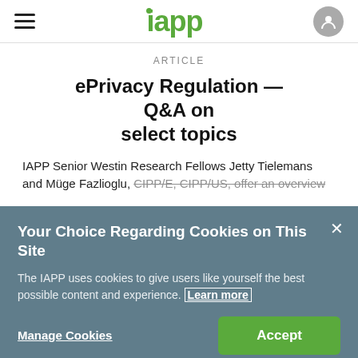iapp
ARTICLE
ePrivacy Regulation — Q&A on select topics
IAPP Senior Westin Research Fellows Jetty Tielemans and Müge Fazlioglu, CIPP/E, CIPP/US, offer an overview
Your Choice Regarding Cookies on This Site
The IAPP uses cookies to give users like yourself the best possible content and experience. Learn more
Manage Cookies
Accept